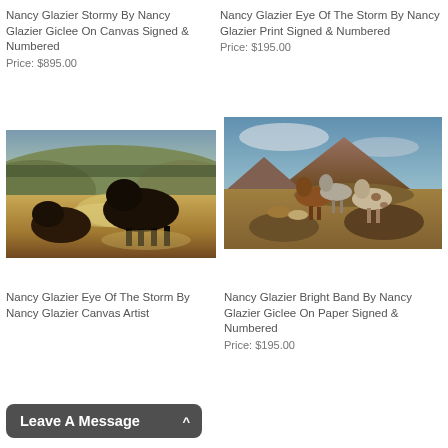Nancy Glazier Stormy By Nancy Glazier Giclee On Canvas Signed & Numbered
Price: $895.00
Nancy Glazier Eye Of The Storm By Nancy Glazier Print Signed & Numbered
Price: $195.00
[Figure (photo): Painting of bison fighting in a dusty golden plain with rolling hills in the background]
[Figure (photo): Painting of horses standing on rocky terrain with mountains in the background under a blue sky]
Nancy Glazier Eye Of The Storm By Nancy Glazier Canvas Artist
(Leave A Message button overlay)
Nancy Glazier Bright Band By Nancy Glazier Giclee On Paper Signed & Numbered
Price: $195.00